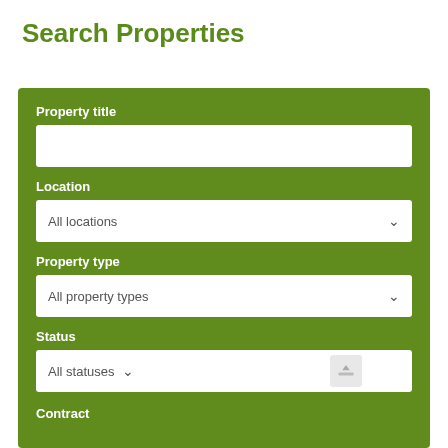Search Properties
Property title
Location
All locations
Property type
All property types
Status
All statuses
Contract